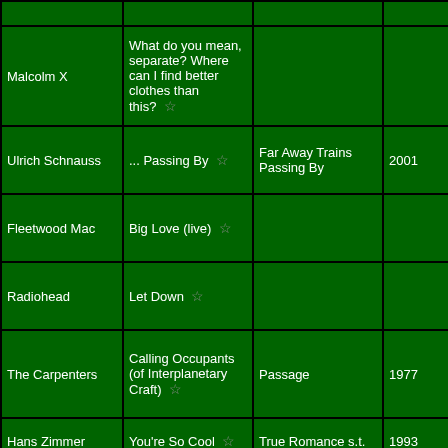| Artist | Song | Album | Year | Notes | Time/Link |
| --- | --- | --- | --- | --- | --- |
| Malcolm X | What do you mean, separate? Where can I find better clothes than this? ☆ |  |  |  | 1:3
(M
Po |
| Ulrich Schnauss | ... Passing By ☆ | Far Away Trains Passing By | 2001 |  | 1:3
(M
Po |
| Fleetwood Mac | Big Love (live) ☆ |  |  | Repeating | 1:3
(M
Po |
| Radiohead | Let Down ☆ |  |  |  | 1:3
(M
Po |
| The Carpenters | Calling Occupants (of Interplanetary Craft) ☆ | Passage | 1977 | By Klaatu | 1:3
(M
Po |
| Hans Zimmer | You're So Cool ☆ | True Romance s.t. | 1993 |  | 1:3
(M |